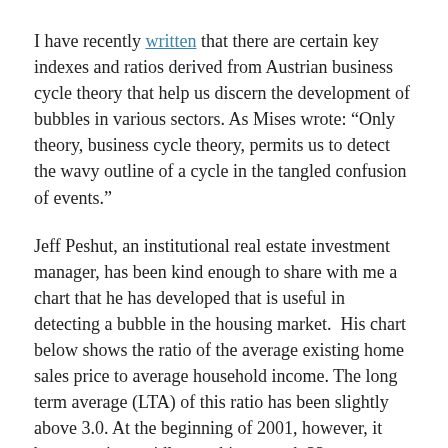I have recently written that there are certain key indexes and ratios derived from Austrian business cycle theory that help us discern the development of bubbles in various sectors. As Mises wrote: “Only theory, business cycle theory, permits us to detect the wavy outline of a cycle in the tangled confusion of events.”
Jeff Peshut, an institutional real estate investment manager, has been kind enough to share with me a chart that he has developed that is useful in detecting a bubble in the housing market.  His chart below shows the ratio of the average existing home sales price to average household income. The long term average (LTA) of this ratio has been slightly above 3.0. At the beginning of 2001, however, it began to rise rapidly, reaching a peak 33 percent higher than the LTA during 2005, and then declining precipitously back to its LTA during 2008.